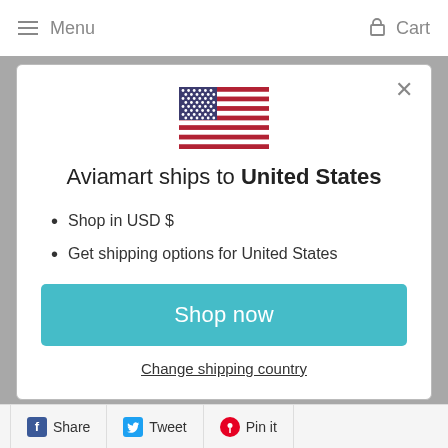Menu   Cart
[Figure (illustration): USA flag emoji/icon centered in modal]
Aviamart ships to United States
Shop in USD $
Get shipping options for United States
Shop now
Change shipping country
Share   Tweet   Pin it